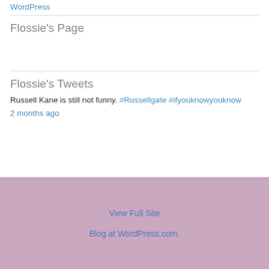WordPress
Flossie's Page
Flossie's Tweets
Russell Kane is still not funny. #Russellgate #ifyouknowyouknow
2 months ago
View Full Site
Blog at WordPress.com.